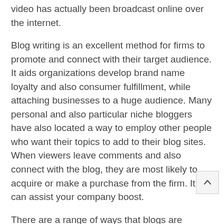video has actually been broadcast online over the internet.
Blog writing is an excellent method for firms to promote and connect with their target audience. It aids organizations develop brand name loyalty and also consumer fulfillment, while attaching businesses to a huge audience. Many personal and also particular niche bloggers have also located a way to employ other people who want their topics to add to their blog sites. When viewers leave comments and also connect with the blog, they are most likely to acquire or make a purchase from the firm. It can assist your company boost.
There are a range of ways that blogs are utilized. Lots of people use blog sites to develop new partnerships and also comprehend other people's lives. The